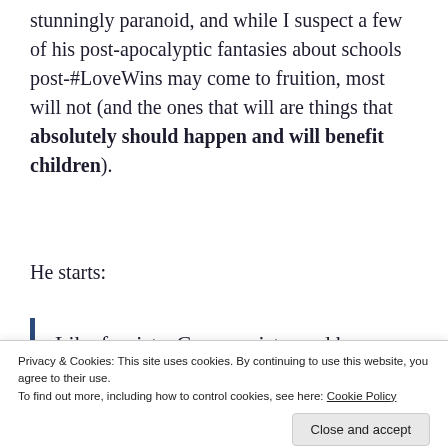stunningly paranoid, and while I suspect a few of his post-apocalyptic fantasies about schools post-#LoveWins may come to fruition, most will not (and the ones that will are things that absolutely should happen and will benefit children).
He starts:
Like fascists, Communists, and boy-
Lett works so hard to impose its will on
Privacy & Cookies: This site uses cookies. By continuing to use this website, you agree to their use.
To find out more, including how to control cookies, see here: Cookie Policy